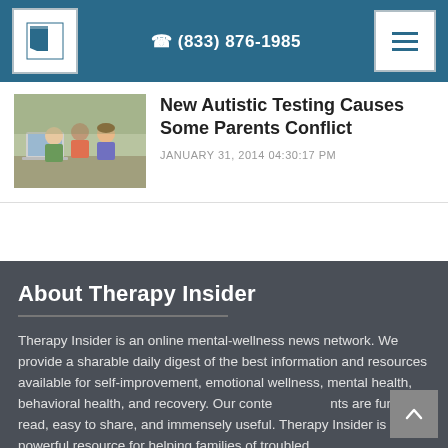(833) 876-1985
New Autistic Testing Causes Some Parents Conflict
JANUARY 31, 2014 04:30:17 PM
About Therapy Insider
Therapy Insider is an online mental-wellness news network. We provide a sharable daily digest of the best information and resources available for self-improvement, emotional wellness, mental health, behavioral health, and recovery. Our content is fun to read, easy to share, and immensely useful. Therapy Insider is a powerful resource for helping families of troubled